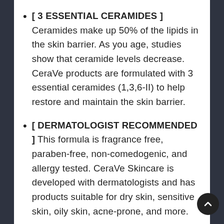[ 3 ESSENTIAL CERAMIDES ] Ceramides make up 50% of the lipids in the skin barrier. As you age, studies show that ceramide levels decrease. CeraVe products are formulated with 3 essential ceramides (1,3,6-II) to help restore and maintain the skin barrier.
[ DERMATOLOGIST RECOMMENDED ] This formula is fragrance free, paraben-free, non-comedogenic, and allergy tested. CeraVe Skincare is developed with dermatologists and has products suitable for dry skin, sensitive skin, oily skin, acne-prone, and more.